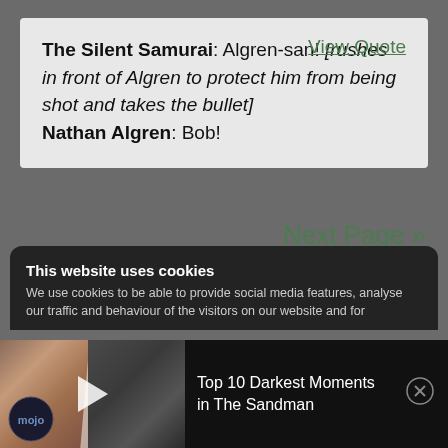The Silent Samurai: Algren-san! [rushes in front of Algren to protect him from being shot and takes the bullet] Nathan Algren: Bob!
View Quote
Next Page »
This website uses cookies
We use cookies to be able to provide social media features, analyse our traffic and behaviour of the visitors on our website and for
[Figure (screenshot): Video player bar showing Top 10 Darkest Moments in The Sandman with mojo logo thumbnail]
Top 10 Darkest Moments in The Sandman